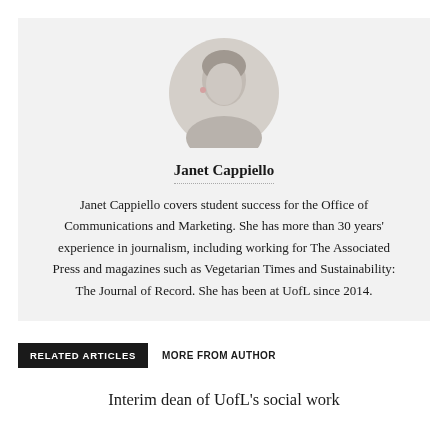[Figure (photo): Circular portrait photo of Janet Cappiello]
Janet Cappiello
Janet Cappiello covers student success for the Office of Communications and Marketing. She has more than 30 years' experience in journalism, including working for The Associated Press and magazines such as Vegetarian Times and Sustainability: The Journal of Record. She has been at UofL since 2014.
RELATED ARTICLES   MORE FROM AUTHOR
Interim dean of UofL's social work